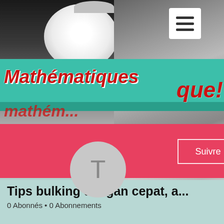[Figure (screenshot): Screenshot of a mobile web page for a channel called 'Mathématiques'. Shows a banner photo with a lamp and a person's face wearing glasses, a teal ribbon with the channel title, a red profile bar, an avatar circle with letter T, a 'Suivre' (Follow) button, and profile info below.]
Mathématiques
Suivre
Tips bulking dengan cepat, a...
0 Abonnés • 0 Abonnements